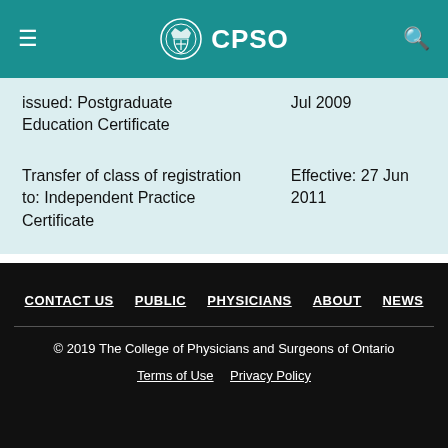CPSO
|  |  |
| --- | --- |
| issued: Postgraduate Education Certificate | Jul 2009 |
| Transfer of class of registration to: Independent Practice Certificate | Effective: 27 Jun 2011 |
CONTACT US  PUBLIC  PHYSICIANS  ABOUT  NEWS
© 2019 The College of Physicians and Surgeons of Ontario
Terms of Use  Privacy Policy